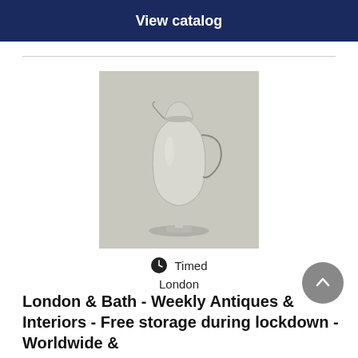View catalog
[Figure (photo): A silver cream jug or pitcher with a pedestal base and angular handle, photographed against a light grey background.]
Timed
London
London & Bath - Weekly Antiques & Interiors - Free storage during lockdown - Worldwide &